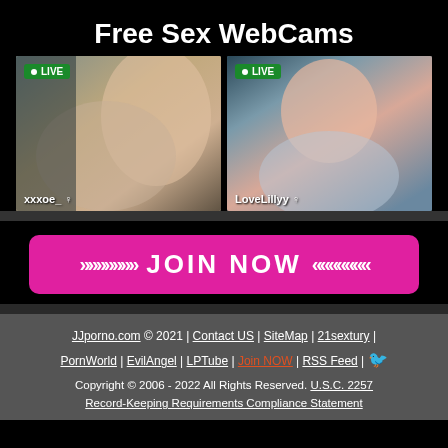Free Sex WebCams
[Figure (photo): Two live webcam thumbnails side by side. Left shows username 'xxxoe_' with LIVE badge. Right shows username 'LoveLillyy' with LIVE badge.]
[Figure (other): JOIN NOW button with pink background and chevron arrows]
JJporno.com © 2021 | Contact US | SiteMap | 21sextury | PornWorld | EvilAngel | LPTube | Join NOW | RSS Feed | Twitter | Copyright © 2006 - 2022 All Rights Reserved. U.S.C. 2257 Record-Keeping Requirements Compliance Statement